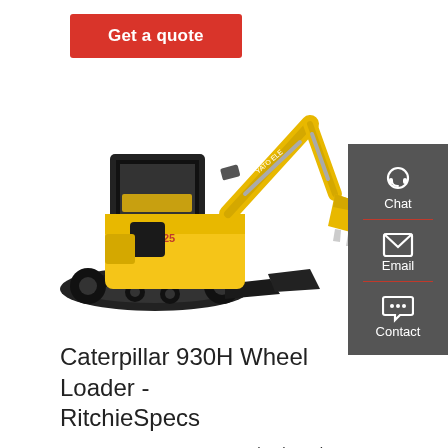Get a quote
[Figure (photo): Yellow mini excavator (model IT25) with tracks and articulating arm with bucket, white background. YATO ELE branding visible on boom.]
Chat
Email
Contact
Caterpillar 930H Wheel Loader - RitchieSpecs
2011 CATERPILLAR 930H Wheel Loader. 7726 COLUMBUS,